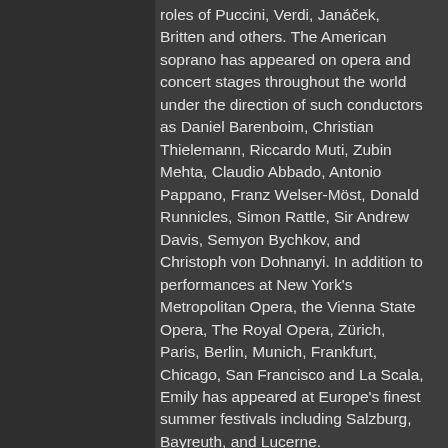roles of Puccini, Verdi, Janáček, Britten and others. The American soprano has appeared on opera and concert stages throughout the world under the direction of such conductors as Daniel Barenboim, Christian Thielemann, Riccardo Muti, Zubin Mehta, Claudio Abbado, Antonio Pappano, Franz Welser-Möst, Donald Runnicles, Simon Rattle, Sir Andrew Davis, Semyon Bychkov, and Christoph von Dohnanyi. In addition to performances at New York's Metropolitan Opera, the Vienna State Opera, The Royal Opera, Zürich, Paris, Berlin, Munich, Frankfurt, Chicago, San Francisco and La Scala, Emily has appeared at Europe's finest summer festivals including Salzburg, Bayreuth, and Lucerne.
RECENT HIGHLIGHTS
Critically acclaimed for her interpretation of Strauss' complex and wide ranging heroines, alongside those of Wagner and Puccini, Emily's celebrated portrayal of the Kaiserin in Die Frau ohne Schatten has